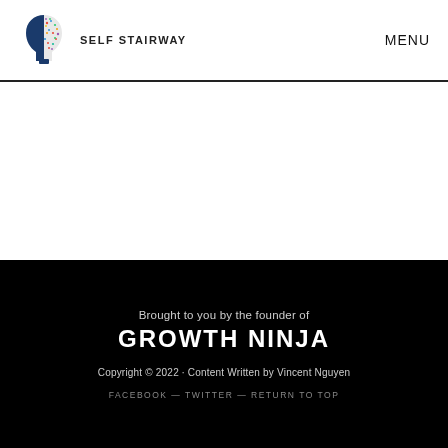SELF STAIRWAY   MENU
Brought to you by the founder of
GROWTH NINJA
Copyright © 2022 · Content Written by Vincent Nguyen
FACEBOOK — TWITTER — RETURN TO TOP